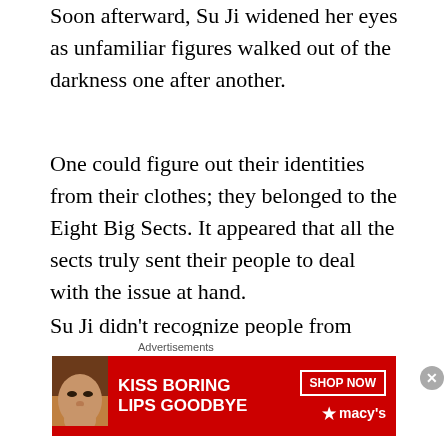Soon afterward, Su Ji widened her eyes as unfamiliar figures walked out of the darkness one after another.
One could figure out their identities from their clothes; they belonged to the Eight Big Sects. It appeared that all the sects truly sent their people to deal with the issue at hand.
Su Ji didn’t recognize people from other sects but she had seen the representatives from Misty Peak before.
[Figure (other): Advertisement banner for Macy's with red background, showing 'KISS BORING LIPS GOODBYE' text on the left, a woman's face with red lips, 'SHOP NOW' button and Macy's star logo on the right]
Advertisements